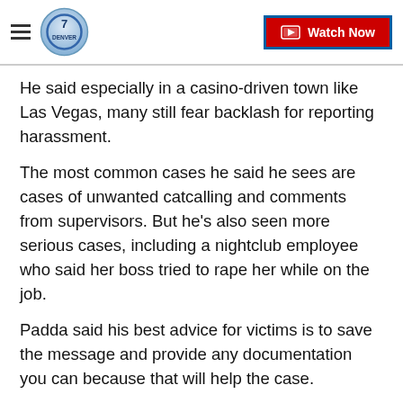Denver 7 | Watch Now
He said especially in a casino-driven town like Las Vegas, many still fear backlash for reporting harassment.
The most common cases he said he sees are cases of unwanted catcalling and comments from supervisors. But he's also seen more serious cases, including a nightclub employee who said her boss tried to rape her while on the job.
Padda said his best advice for victims is to save the message and provide any documentation you can because that will help the case.
Copyright 2018 Scripps Media, Inc. All rights reserved. This material may not be